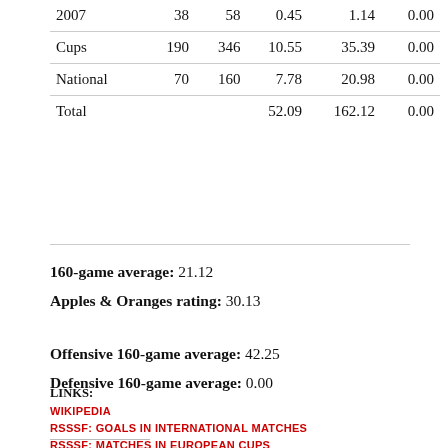|  |  |  |  |  |  |
| --- | --- | --- | --- | --- | --- |
| 2007 | 38 | 58 | 0.45 | 1.14 | 0.00 |
| Cups | 190 | 346 | 10.55 | 35.39 | 0.00 |
| National | 70 | 160 | 7.78 | 20.98 | 0.00 |
| Total |  |  | 52.09 | 162.12 | 0.00 |
160-game average: 21.12
Apples & Oranges rating: 30.13
Offensive 160-game average: 42.25
Defensive 160-game average: 0.00
LINKS:
WIKIPEDIA
RSSSF: GOALS IN INTERNATIONAL MATCHES
RSSSF: MATCHES IN EUROPEAN CUPS